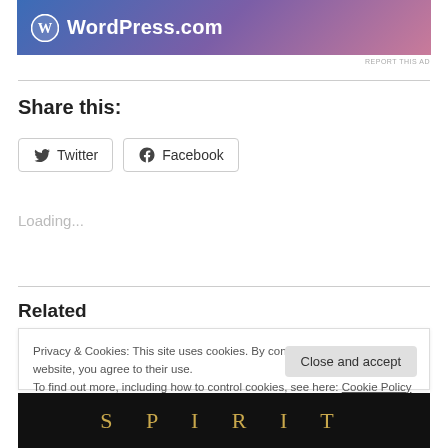[Figure (logo): WordPress.com advertisement banner with gradient blue-purple-pink background, WordPress circular logo and 'WordPress.com' text in white]
REPORT THIS AD
Share this:
Twitter  Facebook
Loading...
Related
Privacy & Cookies: This site uses cookies. By continuing to use this website, you agree to their use.
To find out more, including how to control cookies, see here: Cookie Policy
Close and accept
[Figure (photo): Dark background image with gold serif letters spelling SPIRIT]